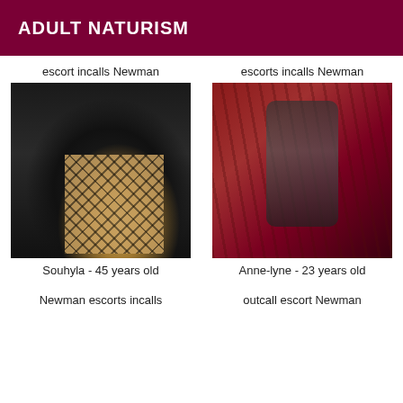ADULT NATURISM
escort incalls Newman
[Figure (photo): Photo of a person in dark clothing and fishnet stockings seated]
Souhyla - 45 years old
escorts incalls Newman
[Figure (photo): Close-up abstract photo with dark red and maroon tones]
Anne-lyne - 23 years old
Newman escorts incalls
outcall escort Newman